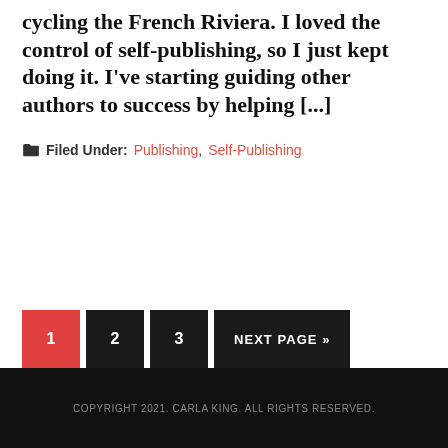cycling the French Riviera. I loved the control of self-publishing, so I just kept doing it. I've starting guiding other authors to success by helping [...]
Filed Under: Publishing, Self-Publishing
1 2 3 NEXT PAGE »
COPYRIGHT 2021. CARLA KING. ALL RIGHTS RESERVED.